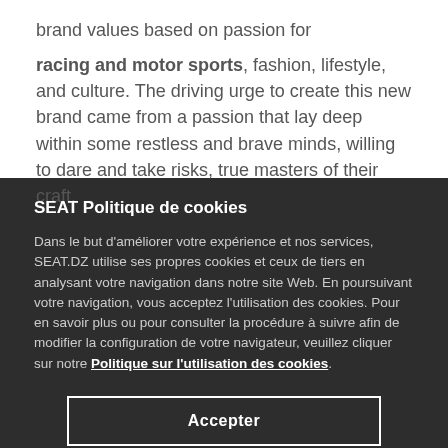brand values based on passion for
racing and motor sports, fashion, lifestyle, and culture. The driving urge to create this new brand came from a passion that lay deep within some restless and brave minds, willing to dare and take risks, true masters of their craft.
SEAT Politique de cookies
Dans le but d'améliorer votre expérience et nos services, SEAT.DZ utilise ses propres cookies et ceux de tiers en analysant votre navigation dans notre site Web. En poursuivant votre navigation, vous acceptez l'utilisation des cookies. Pour en savoir plus ou pour consulter la procédure à suivre afin de modifier la configuration de votre navigateur, veuillez cliquer sur notre Politique sur l'utilisation des cookies.
Accepter